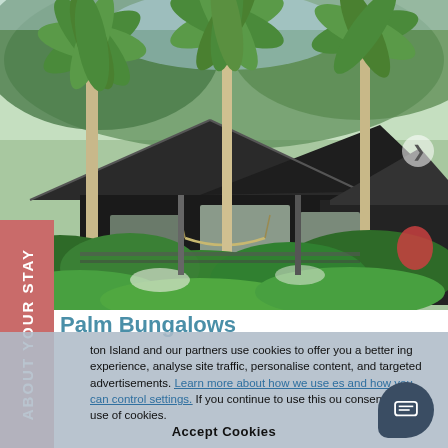[Figure (photo): Tropical bungalow with dark wood structure surrounded by lush palm trees and green tropical vegetation. A hammock is visible on the veranda.]
ABOUT YOUR STAY
Palm Bungalows
ton Island and our partners use cookies to offer you a better ing experience, analyse site traffic, personalise content, and targeted advertisements. Learn more about how we use es and how you can control settings. If you continue to use this ou consent to our use of cookies.
Accept Cookies